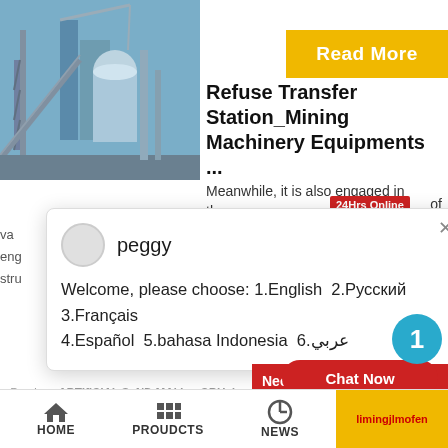[Figure (photo): Industrial mining/processing facility with cranes and silos, blue sky background]
Read More
Refuse Transfer Station_Mining Machinery Equipments ...
Meanwhile, it is also engaged in the
24Hrs Online
of
va
eng
stru
[Figure (screenshot): Chat popup window with avatar, name 'peggy', and multilingual welcome message]
peggy
Welcome, please choose: 1.English  2.Русский 3.Français 4.Español  5.bahasa Indonesia  6.عربي
[Figure (photo): Customer support representative photo with headset]
1
Need qu... & suggestion?
Chat Now
Enquiry
limingjlmofen
« Previous:ARTIfICIAL SaND MAkIng CRUsher S
HOME
PROUDCTS
NEWS
limingjlmofen